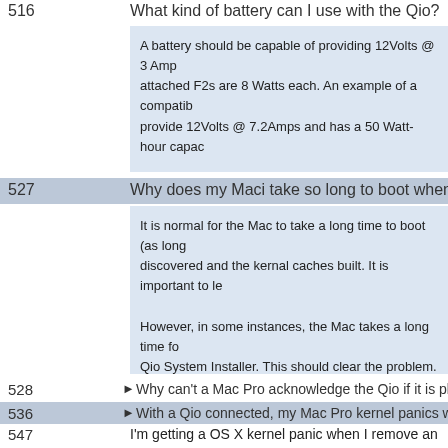516
What kind of battery can I use with the Qio?
A battery should be capable of providing 12Volts @ 3 Amps attached F2s are 8 Watts each. An example of a compatible provide 12Volts @ 7.2Amps and has a 50 Watt-hour capa
527
Why does my Maci take so long to boot when the Qio is att
It is normal for the Mac to take a long time to boot (as long discovered and the kernal caches built. It is important to le

However, in some instances, the Mac takes a long time fo Qio System Installer. This should clear the problem.
528
Why can't a Mac Pro acknowledge the Qio if it is plugged in
536
With a Qio connected, my Mac Pro kernel panics when I sh
547
I'm getting a OS X kernel panic when I remove an SxS car a video capture card installed.
If you have a Mac Pro model 1,1, put the video capture ca Qio bus interface card in PCIe slot 2 to fix this issue. If you so use only the other SxS slot. Sonnet and Sony are worki